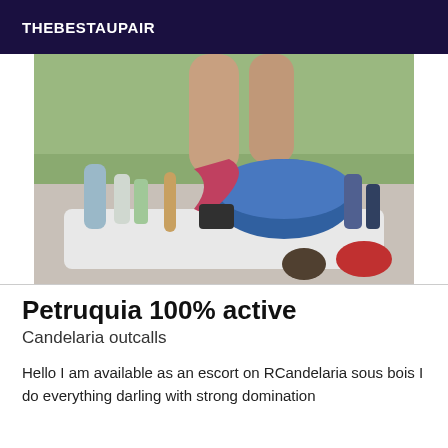THEBESTAUPAIR
[Figure (photo): A photograph showing various personal care and cosmetic items on a surface, with a green bed or towel in the background and a person's legs partially visible.]
Petruquia 100% active
Candelaria outcalls
Hello I am available as an escort on RCandelaria sous bois I do everything darling with strong domination